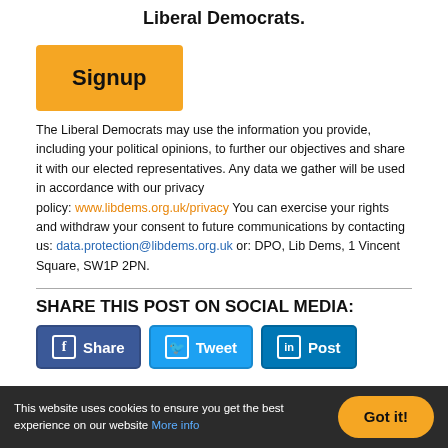Liberal Democrats.
[Figure (other): Orange signup button with text 'Signup']
The Liberal Democrats may use the information you provide, including your political opinions, to further our objectives and share it with our elected representatives. Any data we gather will be used in accordance with our privacy policy: www.libdems.org.uk/privacy You can exercise your rights and withdraw your consent to future communications by contacting us: data.protection@libdems.org.uk or: DPO, Lib Dems, 1 Vincent Square, SW1P 2PN.
SHARE THIS POST ON SOCIAL MEDIA:
[Figure (other): Three social media share buttons: Facebook Share, Twitter Tweet, LinkedIn Post]
This website uses cookies to ensure you get the best experience on our website More info